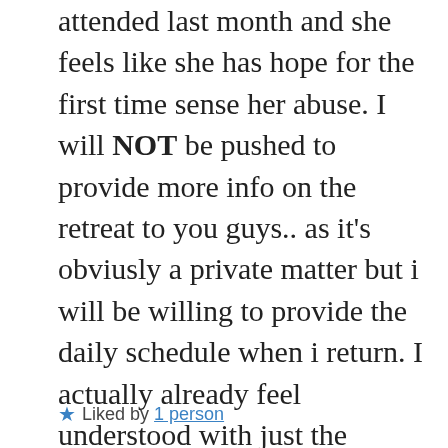attended last month and she feels like she has hope for the first time sense her abuse. I will NOT be pushed to provide more info on the retreat to you guys.. as it's obviusly a private matter but i will be willing to provide the daily schedule when i return. I actually already feel understood with just the communications I have had this week and they sent me a work book and ebook to read before i attent and then will give me physical copies when I attend.
★ Liked by 1 person